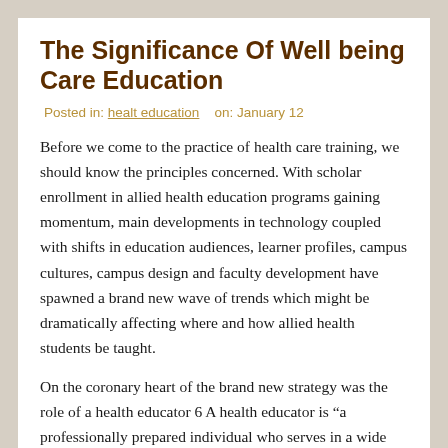The Significance Of Well being Care Education
Posted in: healt education   on: January 12
Before we come to the practice of health care training, we should know the principles concerned. With scholar enrollment in allied health education programs gaining momentum, main developments in technology coupled with shifts in education audiences, learner profiles, campus cultures, campus design and faculty development have spawned a brand new wave of trends which might be dramatically affecting where and how allied health students be taught.
On the coronary heart of the brand new strategy was the role of a health educator 6 A health educator is “a professionally prepared individual who serves in a wide range of roles and is particularly trained to make use of applicable academic methods and methods